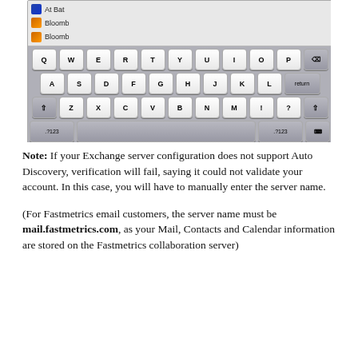[Figure (screenshot): Screenshot of an iOS iPad keyboard showing a QWERTY layout with keys Q W E R T Y U I O P, A S D F G H J K L (return), shift Z X C V B N M ! ? shift, and a bottom row with .?123, spacebar, .?123, and keyboard dismiss button. Above the keyboard is a partially visible app list showing 'At Bat', 'Bloomb', 'Bloomb' entries on a light gray background.]
Note: If your Exchange server configuration does not support Auto Discovery, verification will fail, saying it could not validate your account. In this case, you will have to manually enter the server name.
(For Fastmetrics email customers, the server name must be mail.fastmetrics.com, as your Mail, Contacts and Calendar information are stored on the Fastmetrics collaboration server)